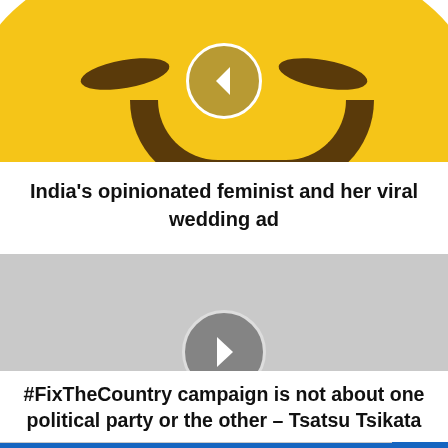[Figure (illustration): Top half of a yellow sad/displeased emoji face with brown furrowed eyebrows and a frown, with a circular back-navigation button overlay in the center]
India's opinionated feminist and her viral wedding ad
[Figure (photo): Gray placeholder image with a circular next-navigation button overlay in the center, and a blue corner button at bottom-right]
#FixTheCountry campaign is not about one political party or the other – Tsatsu Tsikata